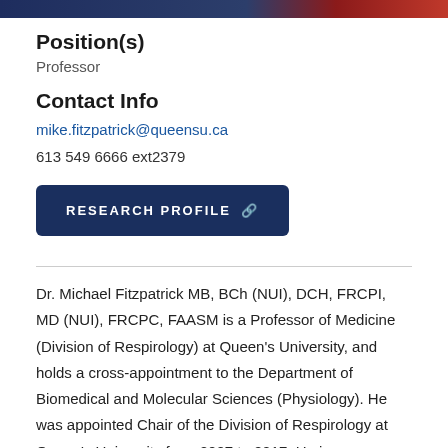[Figure (photo): Top banner image, partially cropped, showing people in a dark blue and red toned background]
Position(s)
Professor
Contact Info
mike.fitzpatrick@queensu.ca
613 549 6666 ext2379
RESEARCH PROFILE
Dr. Michael Fitzpatrick MB, BCh (NUI), DCH, FRCPI, MD (NUI), FRCPC, FAASM is a Professor of Medicine (Division of Respirology) at Queen's University, and holds a cross-appointment to the Department of Biomedical and Molecular Sciences (Physiology). He was appointed Chair of the Division of Respirology at Queen's University from 2007 to 2017. He is a